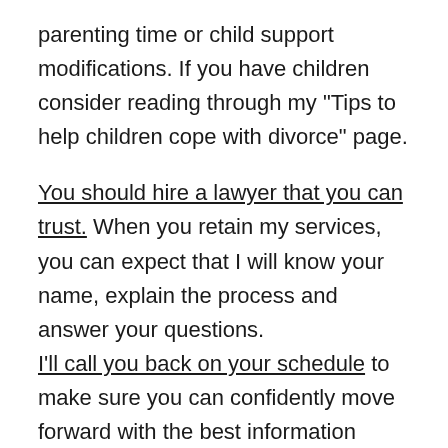parenting time or child support modifications. If you have children consider reading through my "Tips to help children cope with divorce" page.
You should hire a lawyer that you can trust. When you retain my services, you can expect that I will know your name, explain the process and answer your questions. I'll call you back on your schedule to make sure you can confidently move forward with the best information possible.